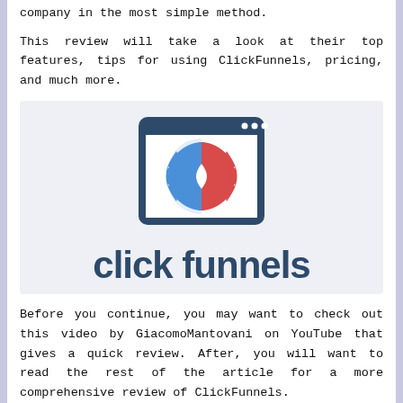company in the most simple method.
This review will take a look at their top features, tips for using ClickFunnels, pricing, and much more.
[Figure (logo): ClickFunnels logo: a browser window icon with blue left half and red right half showing funnel/hourglass shapes formed by gear-like interlocking curves, with three dots in the top-right of the window frame. Below the icon is the wordmark 'click funnels' in dark blue sans-serif bold font.]
Before you continue, you may want to check out this video by GiacomoMantovani on YouTube that gives a quick review. After, you will want to read the rest of the article for a more comprehensive review of ClickFunnels.
[Figure (screenshot): Dark video thumbnail at the bottom of the page, partially visible.]